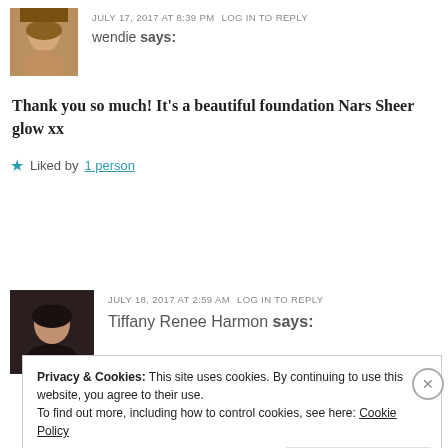JULY 17, 2017 AT 8:39 PM LOG IN TO REPLY
wendie says:
Thank you so much! It's a beautiful foundation Nars Sheer glow xx
★ Liked by 1 person
[Figure (photo): Avatar photo of wendie, woman with blonde hair]
JULY 18, 2017 AT 2:59 AM LOG IN TO REPLY
Tiffany Renee Harmon says:
[Figure (photo): Avatar photo of Tiffany Renee Harmon, dark hair]
Privacy & Cookies: This site uses cookies. By continuing to use this website, you agree to their use. To find out more, including how to control cookies, see here: Cookie Policy
Close and accept